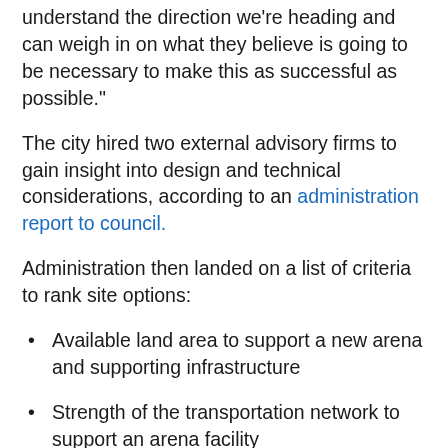understand the direction we're heading and can weigh in on what they believe is going to be necessary to make this as successful as possible."
The city hired two external advisory firms to gain insight into design and technical considerations, according to an administration report to council.
Administration then landed on a list of criteria to rank site options:
Available land area to support a new arena and supporting infrastructure
Strength of the transportation network to support an arena facility
Opportunity for influencing adjacent